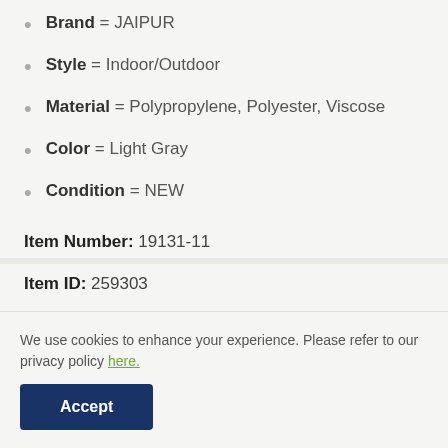Brand = JAIPUR
Style = Indoor/Outdoor
Material = Polypropylene, Polyester, Viscose
Color = Light Gray
Condition = NEW
Item Number: 19131-11
Item ID: 259303
We use cookies to enhance your experience. Please refer to our privacy policy here.